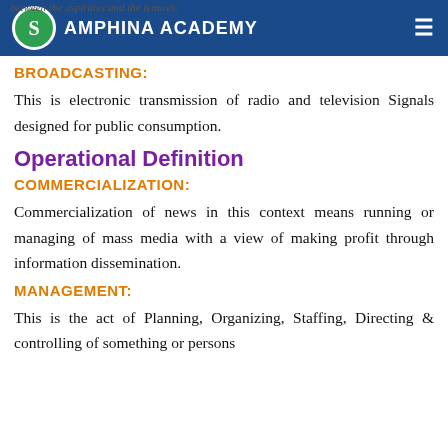between the aspirates and the tenures. SAMPHINA ACADEMY
BROADCASTING:
This is electronic transmission of radio and television Signals designed for public consumption.
Operational Definition
COMMERCIALIZATION:
Commercialization of news in this context means running or managing of mass media with a view of making profit through information dissemination.
MANAGEMENT:
This is the act of Planning, Organizing, Staffing, Directing & controlling of something or persons